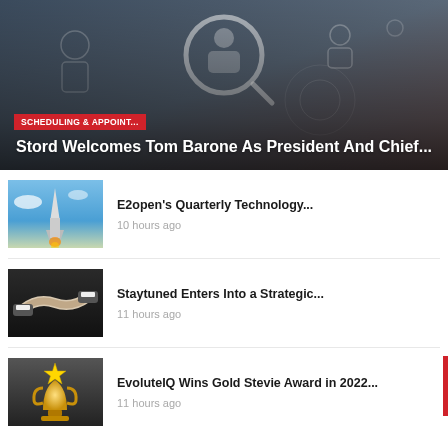[Figure (photo): Hero image of a person in a suit pointing at digital network/people icons, with a magnifying glass overlay. Red category tag 'SCHEDULING & APPOINT...' and white bold title 'Stord Welcomes Tom Barone As President And Chief...' overlaid at bottom.]
[Figure (photo): Thumbnail of a rocket launching into blue sky]
E2open's Quarterly Technology...
10 hours ago
[Figure (photo): Thumbnail of two people shaking hands in formal attire]
Staytuned Enters Into a Strategic...
11 hours ago
[Figure (photo): Thumbnail of a gold star trophy award]
EvoluteIQ Wins Gold Stevie Award in 2022...
11 hours ago